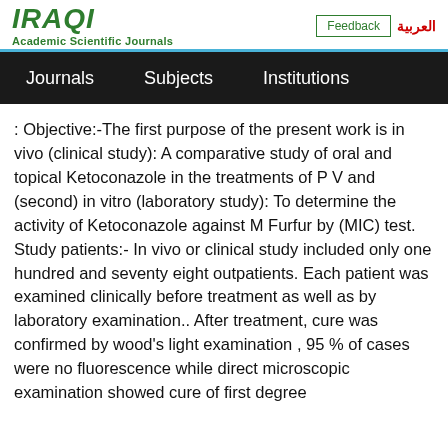IRAQI Academic Scientific Journals | Feedback | العربية
Journals  Subjects  Institutions
: Objective:-The first purpose of the present work is in vivo (clinical study): A comparative study of oral and topical Ketoconazole in the treatments of P V and (second) in vitro (laboratory study): To determine the activity of Ketoconazole against M Furfur by (MIC) test. Study patients:- In vivo or clinical study included only one hundred and seventy eight outpatients. Each patient was examined clinically before treatment as well as by laboratory examination.. After treatment, cure was confirmed by wood's light examination , 95 % of cases were no fluorescence while direct microscopic examination showed cure of first degree